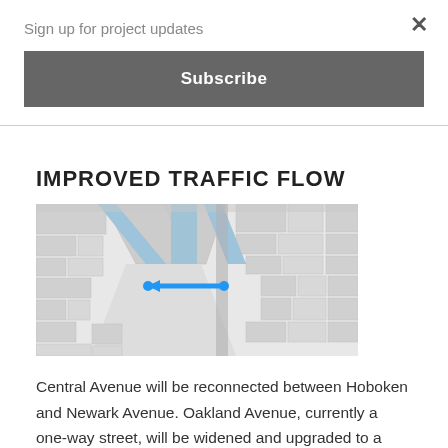Sign up for project updates
Subscribe
IMPROVED TRAFFIC FLOW
[Figure (map): Aerial map showing city street grid with a blue highlighted route indicating Central Avenue reconnection between Hoboken and Newark Avenue. A blue arrow/line marker is shown at the intersection point.]
Central Avenue will be reconnected between Hoboken and Newark Avenue. Oakland Avenue, currently a one-way street, will be widened and upgraded to a